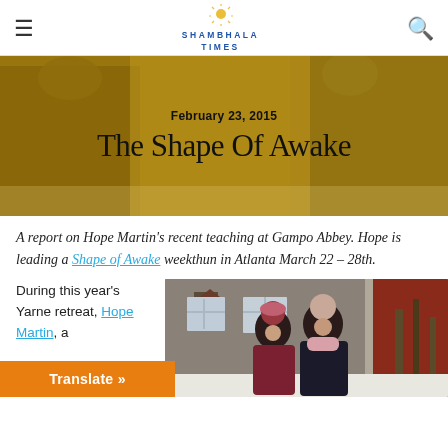SHAMBHALA TIMES
[Figure (photo): Hero background photo of two people in winter coats with golden/amber color overlay. Date 'February 23, 2015' and title 'The Shape Of Awake' overlaid.]
The Shape Of Awake
February 23, 2015
A report on Hope Martin's recent teaching at Gampo Abbey. Hope is leading a Shape of Awake weekthun in Atlanta March 22 – 28th.
During this year's Yarne retreat, Hope Martin, a
[Figure (photo): Two women standing outside a shingled building in winter/snow, one wearing a dark red jacket and pink hat, the other in a dark jacket with pink scarf.]